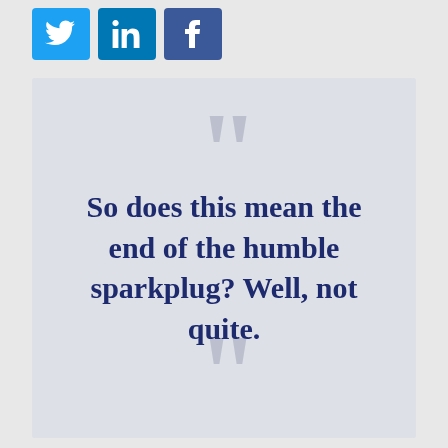[Figure (illustration): Three social media share buttons: Twitter (blue bird icon), LinkedIn (blue 'in' icon), Facebook (blue 'f' icon)]
So does this mean the end of the humble sparkplug? Well, not quite.